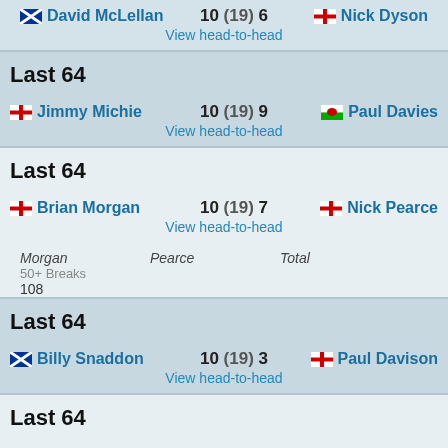David McLellan 10 (19) 6 Nick Dyson
View head-to-head
Last 64
Jimmy Michie 10 (19) 9 Paul Davies
View head-to-head
Last 64
Brian Morgan 10 (19) 7 Nick Pearce
View head-to-head
Morgan | Pearce | Total
50+ Breaks
108
Last 64
Billy Snaddon 10 (19) 3 Paul Davison
View head-to-head
Last 64
Matthew Stevens 10 (19) 7 Jason Prince
View head-to-head
Stevens | Prince | Total